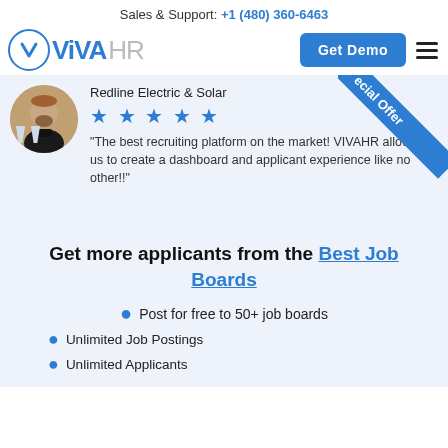Sales & Support: +1 (480) 360-6463
[Figure (logo): VIVAHR logo with circular V icon, blue brand name VIVA and gray HR text, Get Demo button and hamburger menu]
[Figure (photo): Reviewer avatar photo of a person, with text: Redline Electric & Solar, 5 stars, review quote: The best recruiting platform on the market! VIVAHR allowed us to create a dashboard and applicant experience like no other!!]
"The best recruiting platform on the market! VIVAHR allowed us to create a dashboard and applicant experience like no other!!"
Get more applicants from the Best Job Boards
Post for free to 50+ job boards
Unlimited Job Postings
Unlimited Applicants